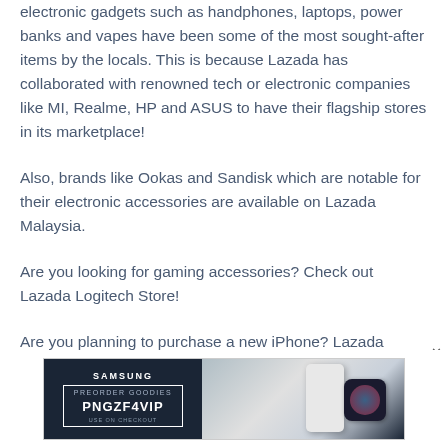electronic gadgets such as handphones, laptops, power banks and vapes have been some of the most sought-after items by the locals. This is because Lazada has collaborated with renowned tech or electronic companies like MI, Realme, HP and ASUS to have their flagship stores in its marketplace!
Also, brands like Ookas and Sandisk which are notable for their electronic accessories are available on Lazada Malaysia.
Are you looking for gaming accessories? Check out Lazada Logitech Store!
Are you planning to purchase a new iPhone? Lazada Apple Store allows it to you!
[Figure (other): Samsung advertisement banner with dark background showing PREORDER GOODIES promo code PNGZF4VIP with Samsung logo on left and product images (phone and smartwatch) on right]